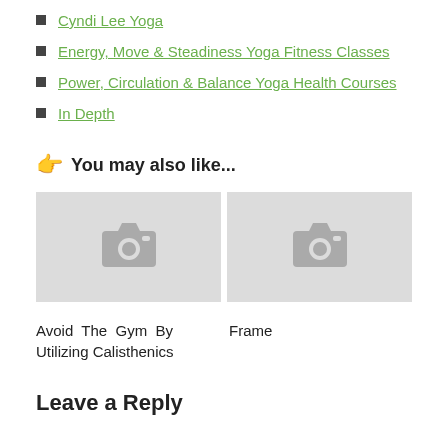Cyndi Lee Yoga
Energy, Move & Steadiness Yoga Fitness Classes
Power, Circulation & Balance Yoga Health Courses
In Depth
👉 You may also like...
[Figure (photo): Placeholder image thumbnail with camera icon (left)]
[Figure (photo): Placeholder image thumbnail with camera icon (right)]
Avoid The Gym By Utilizing Calisthenics
Frame
Leave a Reply